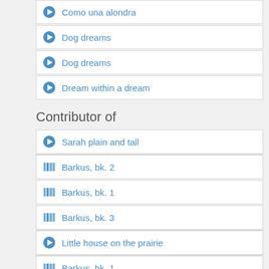Como una alondra
Dog dreams
Dog dreams
Dream within a dream
Contributor of
Sarah plain and tall
Barkus, bk. 2
Barkus, bk. 1
Barkus, bk. 3
Little house on the prairie
Barkus, bk. 1
Barkus, bk. 2